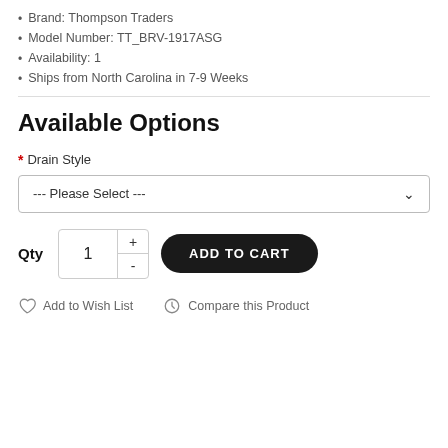Brand: Thompson Traders
Model Number: TT_BRV-1917ASG
Availability: 1
Ships from North Carolina in 7-9 Weeks
Available Options
* Drain Style
--- Please Select ---
Qty  1  ADD TO CART
Add to Wish List   Compare this Product